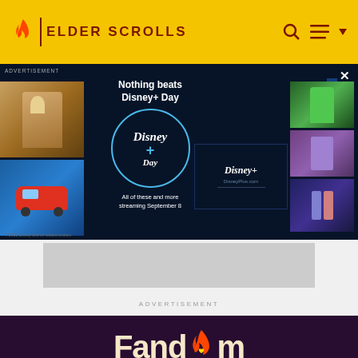Elder Scrolls
[Figure (screenshot): Disney+ Day advertisement banner with Pinocchio, Cars, She-Hulk, Thor, Avengers imagery and Disney+ logo. Text reads: Nothing beats Disney+ Day. All of these and more streaming September 8]
ADVERTISEMENT
[Figure (logo): Fandom logo in cream/beige color with flame icon on dark purple background]
EXPLORE PROPERTIES